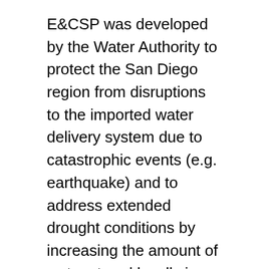E&CSP was developed by the Water Authority to protect the San Diego region from disruptions to the imported water delivery system due to catastrophic events (e.g. earthquake) and to address extended drought conditions by increasing the amount of water stored locally in the San Diego region.
The Project is a regional system of three dams/reservoirs, interconnected with pipelines and pumping stations designed to create a local storage reserve of water for the